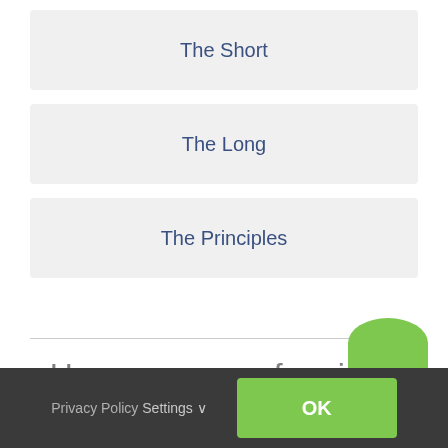The Short
The Long
The Principles
How are we performing?
Privacy Policy Settings ∨  OK